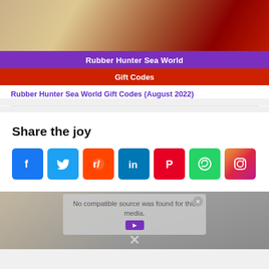[Figure (screenshot): Screenshot of a mobile game 'Rubber Hunter Sea World' with anime-style characters fighting, overlaid with a purple banner reading 'Rubber Hunter Sea World' and a red banner reading 'Gift Codes']
Rubber Hunter Sea World Gift Codes (August 2022)
Share the joy
[Figure (infographic): Row of social media sharing icons: Facebook (blue), Twitter (light blue), Reddit (orange-red), LinkedIn (blue), Pinterest (red), WhatsApp (green), Instagram (gradient purple-red-orange)]
[Figure (screenshot): Video player overlay showing 'No compatible source was found for this media.' with a close button and play button, overlaid on a blurred background image with an X mark]